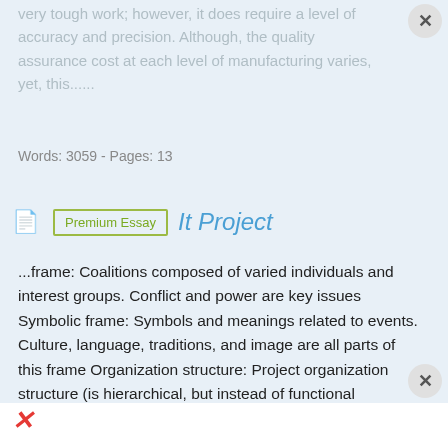very tough work; however, it does require a level of accuracy and precision. Although, the quality assurance cost at each level of manufacturing varies, yet, this......
Words: 3059 - Pages: 13
It Project
...frame: Coalitions composed of varied individuals and interest groups. Conflict and power are key issues Symbolic frame: Symbols and meanings related to events. Culture, language, traditions, and image are all parts of this frame Organization structure: Project organization structure (is hierarchical, but instead of functional managers or vice presidents reporting to the CEO, program managers report to the CEO.) Matrix organization: • represents the middle ground between functional and